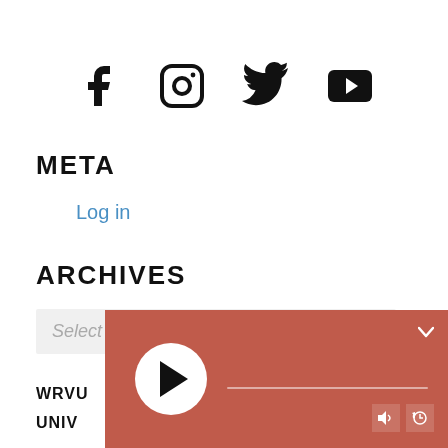[Figure (infographic): Social media icons: Facebook, Instagram, Twitter, YouTube]
META
Log in
ARCHIVES
Select Month (dropdown)
[Figure (other): Audio player widget with play button, progress bar, and controls on a terracotta/red background]
WRVU
UNIV